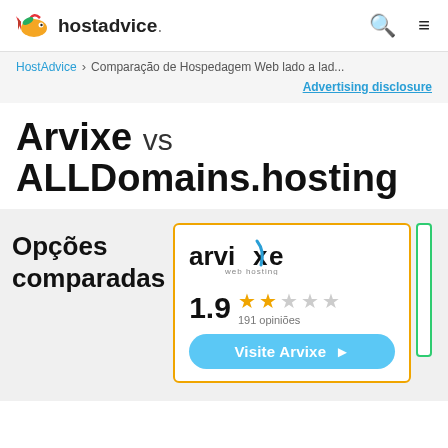hostadvice. [search] [menu]
HostAdvice > Comparação de Hospedagem Web lado a lad...
Advertising disclosure
Arvixe vs ALLDomains.hosting
Opções comparadas
[Figure (logo): Arvixe web hosting logo with teal checkmark]
1.9 ★★☆☆☆ 191 opiniões
Visite Arvixe →